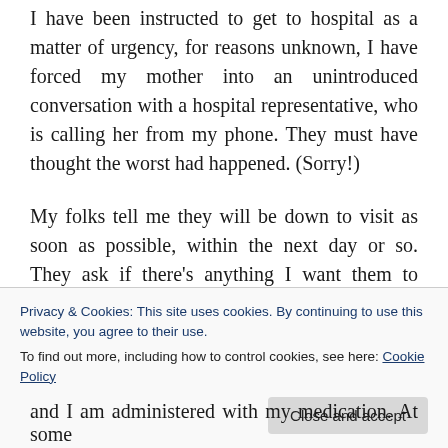I have been instructed to get to hospital as a matter of urgency, for reasons unknown, I have forced my mother into an unintroduced conversation with a hospital representative, who is calling her from my phone. They must have thought the worst had happened. (Sorry!)
My folks tell me they will be down to visit as soon as possible, within the next day or so. They ask if there's anything I want them to bring; I suggest a phone charger might be an idea, a dressing gown would be nice, but not to bother with any food as I am on liquids only. I dutifully promise to stay in
Privacy & Cookies: This site uses cookies. By continuing to use this website, you agree to their use.
To find out more, including how to control cookies, see here: Cookie Policy
Close and accept
and I am administered with my medication. At some